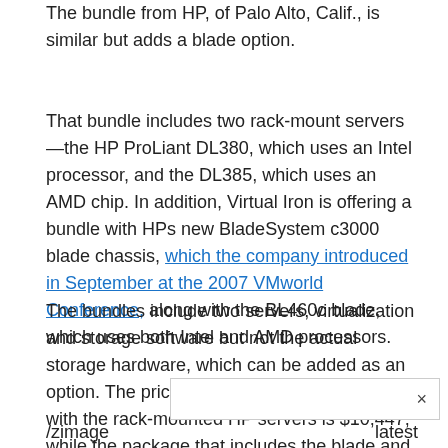The bundle from HP, of Palo Alto, Calif., is similar but adds a blade option.
That bundle includes two rack-mount servers—the HP ProLiant DL380, which uses an Intel processor, and the DL385, which uses an AMD chip. In addition, Virtual Iron is offering a bundle with HPs new BladeSystem c3000 blade chassis, which the company introduced in September at the 2007 VMworld Conference, along with the BL460c blade, which uses both Intel and AMD processors.
The bundles include two servers, virtualization and storage software but not the actual storage hardware, which can be added as an option. The price for the bundle that comes with the rack-mounted HP servers is $10,447, while the package that includes the blade and blade chassis is $33,114.
/zimage
latest